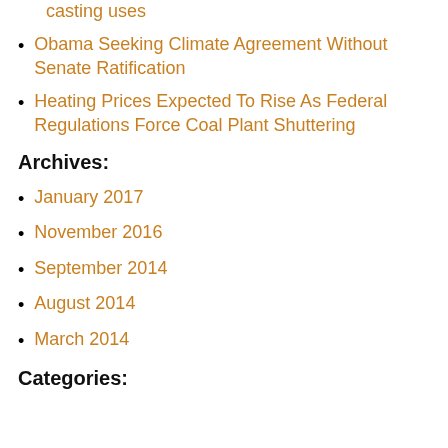Hunger Lubricants and Assists Creates Die casting uses
Obama Seeking Climate Agreement Without Senate Ratification
Heating Prices Expected To Rise As Federal Regulations Force Coal Plant Shuttering
Archives:
January 2017
November 2016
September 2014
August 2014
March 2014
Categories: